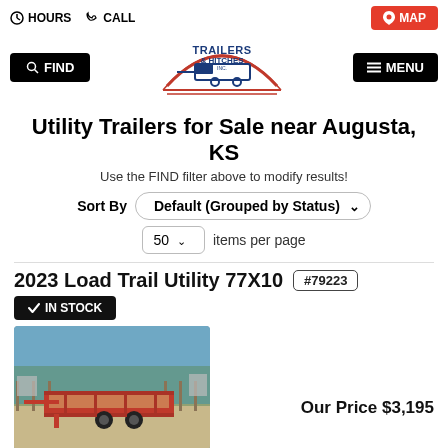HOURS  CALL  MAP
[Figure (logo): Trailers & Hitches Inc. logo with blue text and red trailer graphic]
Utility Trailers for Sale near Augusta, KS
Use the FIND filter above to modify results!
Sort By  Default (Grouped by Status)
50  items per page
2023 Load Trail Utility 77X10  #79223
IN STOCK
[Figure (photo): Photo of a red 2023 Load Trail Utility 77X10 trailer parked in a lot with trees in background]
Our Price $3,195